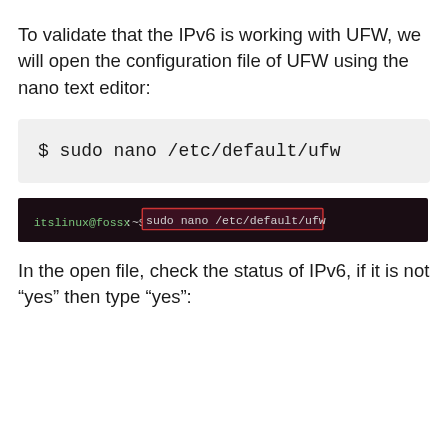To validate that the IPv6 is working with UFW, we will open the configuration file of UFW using the nano text editor:
[Figure (screenshot): Light grey code block showing the command: $ sudo nano /etc/default/ufw]
[Figure (screenshot): Terminal screenshot with dark background showing: itslinux@fossx:~$ sudo nano /etc/default/ufw, with the command highlighted in a red/pink border box]
In the open file, check the status of IPv6, if it is not “yes” then type “yes”: